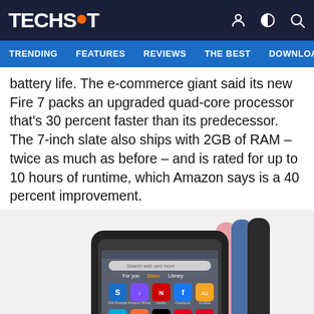TECHSPOT
TRENDING  FEATURES  REVIEWS  THE BEST  DOWNLOA
battery life. The e-commerce giant said its new Fire 7 packs an upgraded quad-core processor that's 30 percent faster than its predecessor. The 7-inch slate also ships with 2GB of RAM – twice as much as before – and is rated for up to 10 hours of runtime, which Amazon says is a 40 percent improvement.
[Figure (photo): Amazon Fire 7 tablet shown from the front displaying app icons, alongside three tablet backs in pink, blue, and black colors.]